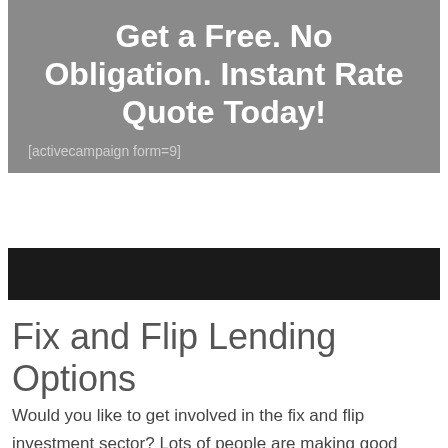Get a Free. No Obligation. Instant Rate Quote Today!
[activecampaign form=9]
Fix and Flip Lending Options
Would you like to get involved in the fix and flip investment sector? Lots of people are making good money by buying homes that need some restoration, repairing them, then reselling them for a good gain. It is best, to be sure your initial